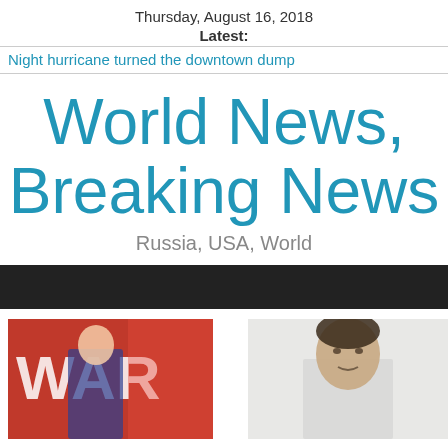Thursday, August 16, 2018
Latest:
Night hurricane turned the downtown dump
World News, Breaking News
Russia, USA, World
[Figure (photo): Navigation bar (dark background)]
[Figure (photo): Left article thumbnail: man in suit with red background and text 'WAR']
[Figure (photo): Right article thumbnail: young man portrait on light background]